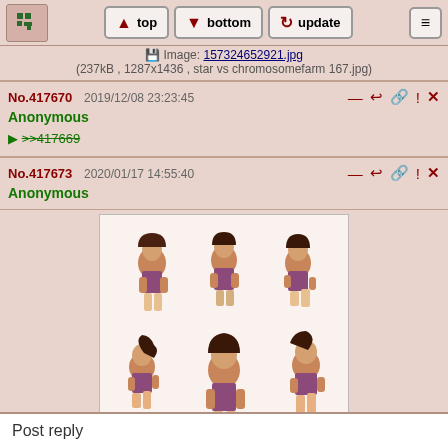top | bottom | update
Image: 157324652921.jpg (237kB , 1287x1436 , star vs chromosomefarm 167.jpg)
No.417670  2019/12/08 23:23:45
Anonymous
>>417669
No.417673  2020/01/17 14:55:40
Anonymous
Image: 157930174095.png
(841kB , 1528x1854 , marco_full_5.png)
[Figure (illustration): Anime-style character sheet showing a girl in a purple shirt in multiple poses]
No.417699  2020/03/18 17:05:53
Anonymous
Post reply